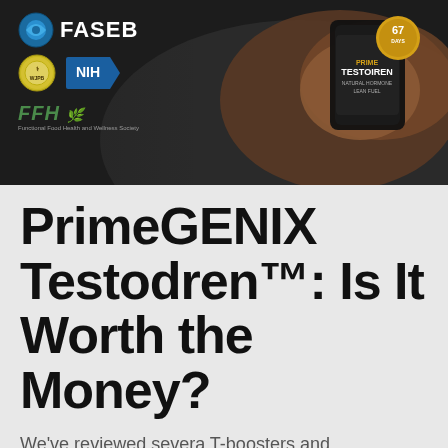[Figure (photo): Hero image showing a muscular tattooed man holding a bottle of PrimeGENIX Testodren supplement with a 67-day money back guarantee badge. Logos visible: FASEB, WJPB (circular), NIH (blue arrow badge), FFH with tagline.]
PrimeGENIX Testodren™: Is It Worth the Money?
We've reviewed severa T-boosters and male enhancement merchandise presently access the market.